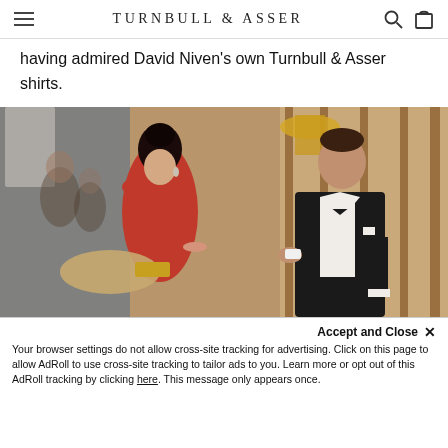TURNBULL & ASSER
having admired David Niven's own Turnbull & Asser shirts.
[Figure (photo): A scene from a James Bond film showing a woman in a red one-shoulder dress and a man in a black tuxedo with bow tie, standing in an ornate golden interior, appearing to exchange something.]
Accept and Close ×
Your browser settings do not allow cross-site tracking for advertising. Click on this page to allow AdRoll to use cross-site tracking to tailor ads to you. Learn more or opt out of this AdRoll tracking by clicking here. This message only appears once.